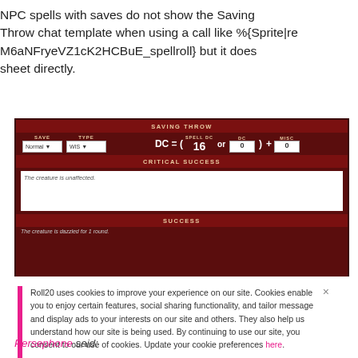NPC spells with saves do not show the Saving Throw chat template when using a call like %{Sprite|re M6aNFryeVZ1cK2HCBuE_spellroll} but it does sheet directly.
[Figure (screenshot): Screenshot of a Roll20 Pathfinder character sheet Saving Throw section showing a DC formula with Spell DC 16, normal save type WIS, Critical Success area with 'The creature is unaffected.' text, and a Success section.]
Roll20 uses cookies to improve your experience on our site. Cookies enable you to enjoy certain features, social sharing functionality, and tailor message and display ads to your interests on our site and others. They also help us understand how our site is being used. By continuing to use our site, you consent to our use of cookies. Update your cookie preferences here.
Persephone said: